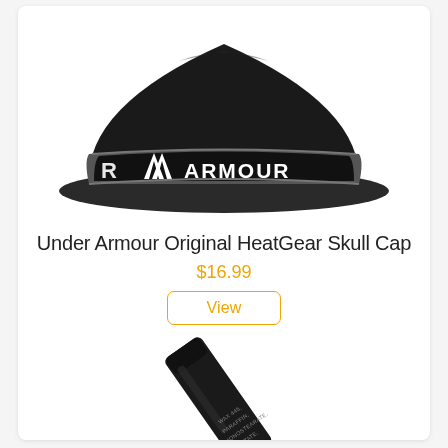[Figure (photo): Under Armour black skull cap/beanie with white Under Armour logo and 'ARMOUR' text on a gray band around the brim]
Under Armour Original HeatGear Skull Cap
$16.99
View
[Figure (photo): A black lip balm or cosmetic stick tube shown diagonally with small white ingredient text visible (WAX 445, PARAFFIN, MONOSTEARATE, ACETATE, ACID)]